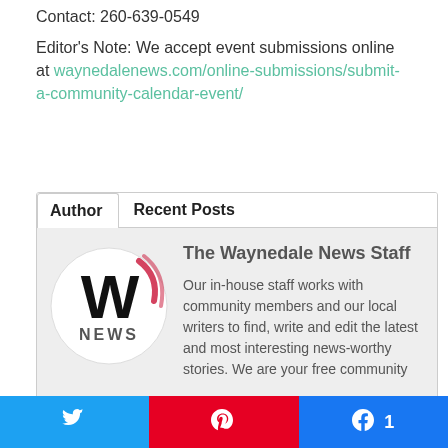Contact: 260-639-0549
Editor's Note: We accept event submissions online at waynedalenews.com/online-submissions/submit-a-community-calendar-event/
Author | Recent Posts
The Waynedale News Staff
Our in-house staff works with community members and our local writers to find, write and edit the latest and most interesting news-worthy stories. We are your free community
[Figure (logo): Waynedale News circular logo with W and NEWS text]
Twitter share button | Pinterest share button | Facebook share button with count 1